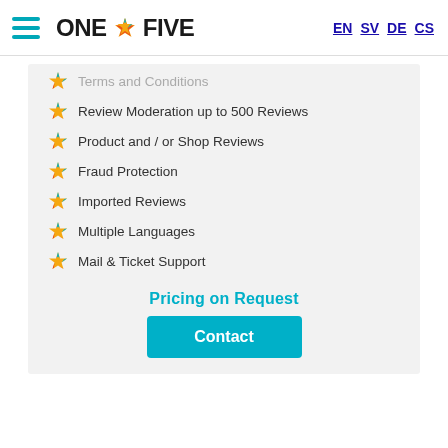ONE2FIVE — EN SV DE CS
Terms and Conditions
Review Moderation up to 500 Reviews
Product and / or Shop Reviews
Fraud Protection
Imported Reviews
Multiple Languages
Mail & Ticket Support
Pricing on Request
Contact